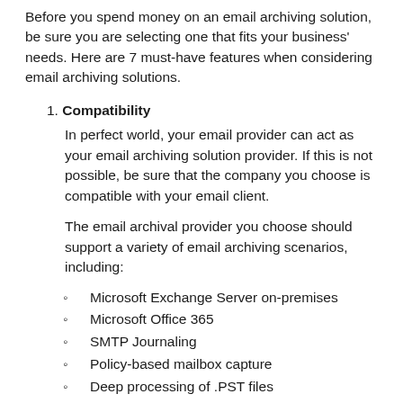Before you spend money on an email archiving solution, be sure you are selecting one that fits your business' needs. Here are 7 must-have features when considering email archiving solutions.
1. Compatibility
In perfect world, your email provider can act as your email archiving solution provider. If this is not possible, be sure that the company you choose is compatible with your email client.
The email archival provider you choose should support a variety of email archiving scenarios, including:
Microsoft Exchange Server on-premises
Microsoft Office 365
SMTP Journaling
Policy-based mailbox capture
Deep processing of .PST files